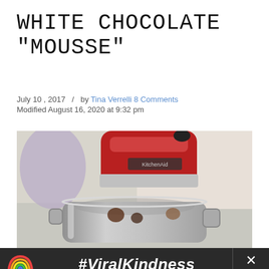WHITE CHOCOLATE "MOUSSE"
July 10, 2017  /  by Tina Verrelli 8 Comments
Modified August 16, 2020 at 9:32 pm
[Figure (photo): A red KitchenAid stand mixer with a shiny stainless steel mixing bowl, photographed close-up from slightly below, blurred background.]
#ViralKindness